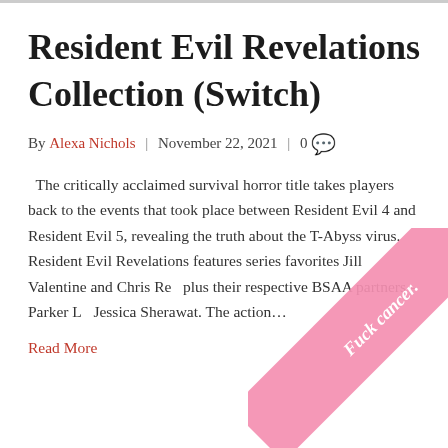Resident Evil Revelations Collection (Switch)
By Alexa Nichols | November 22, 2021 | 0
The critically acclaimed survival horror title takes players back to the events that took place between Resident Evil 4 and Resident Evil 5, revealing the truth about the T-Abyss virus. Resident Evil Revelations features series favorites Jill Valentine and Chris Red plus their respective BSAA partners – Parker L Jessica Sherawat. The action...
Read More
[Figure (illustration): A pink diagonal ribbon/banner overlaid on the bottom-right corner of the page with the text 'Fuck cancer.' written diagonally in white italic text.]